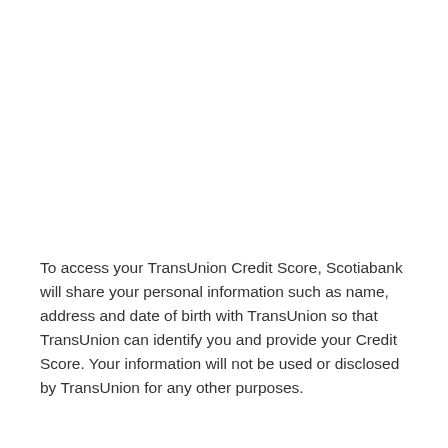To access your TransUnion Credit Score, Scotiabank will share your personal information such as name, address and date of birth with TransUnion so that TransUnion can identify you and provide your Credit Score. Your information will not be used or disclosed by TransUnion for any other purposes.